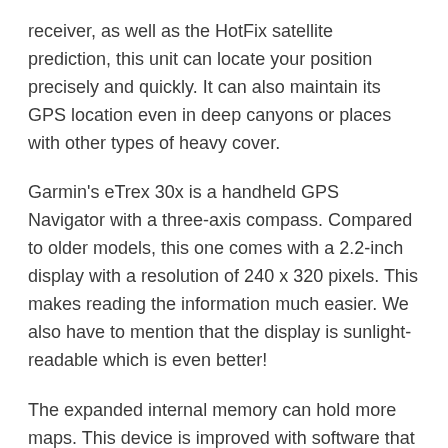receiver, as well as the HotFix satellite prediction, this unit can locate your position precisely and quickly. It can also maintain its GPS location even in deep canyons or places with other types of heavy cover.
Garmin's eTrex 30x is a handheld GPS Navigator with a three-axis compass. Compared to older models, this one comes with a 2.2-inch display with a resolution of 240 x 320 pixels. This makes reading the information much easier. We also have to mention that the display is sunlight-readable which is even better!
The expanded internal memory can hold more maps. This device is improved with software that allows you to view and organize maps, routes, tracks, and waypoints, called BaseCamp. The software shows topographic map data in 2D or 3D on your computer screen.